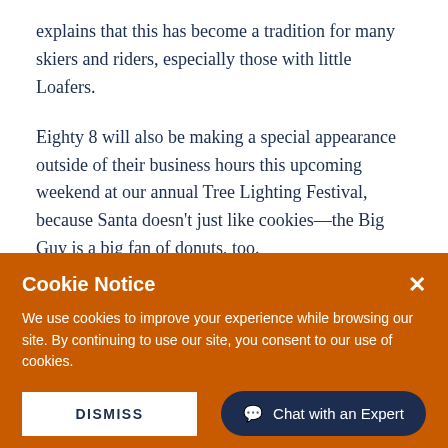explains that this has become a tradition for many skiers and riders, especially those with little Loafers.
Eighty 8 will also be making a special appearance outside of their business hours this upcoming weekend at our annual Tree Lighting Festival, because Santa doesn't just like cookies—the Big Guy is a big fan of donuts, too.
Cookie Notice
We use cookies to improve your experience while browsing our site. By continuing to use our site, you consent to our use of cookies.
DISMISS  Chat with an Expert